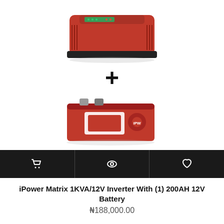[Figure (photo): Red iPower Matrix 1KVA/12V inverter device on top, a large bold plus sign in the middle, and a red 200AH 12V battery below, shown as a product bundle image on white background]
[Figure (screenshot): Dark action bar with three icons: shopping cart, eye/view icon, and heart/wishlist icon, separated by vertical dividers]
iPower Matrix 1KVA/12V Inverter With (1) 200AH 12V Battery
₦188,000.00